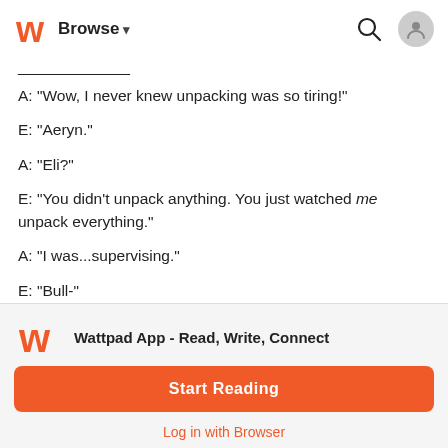Browse
____________
A: "Wow, I never knew unpacking was so tiring!"
E: "Aeryn."
A: "Eli?"
E: "You didn't unpack anything. You just watched me unpack everything."
A: "I was...supervising."
E: "Bull-"
Wattpad App - Read, Write, Connect
Start Reading
Log in with Browser